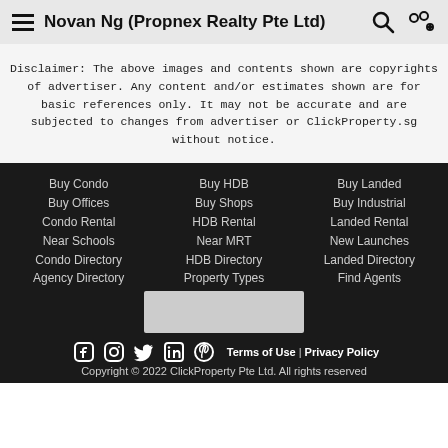Novan Ng (Propnex Realty Pte Ltd)
Disclaimer: The above images and contents shown are copyrights of advertiser. Any content and/or estimates shown are for basic references only. It may not be accurate and are subjected to changes from advertiser or ClickProperty.sg without notice.
Buy Condo
Buy HDB
Buy Landed
Buy Offices
Buy Shops
Buy Industrial
Condo Rental
HDB Rental
Landed Rental
Near Schools
Near MRT
New Launches
Condo Directory
HDB Directory
Landed Directory
Agency Directory
Property Types
Find Agents
[Figure (other): Gray placeholder box for logo or advertisement]
Terms of Use | Privacy Policy
Copyright © 2022 ClickProperty Pte Ltd. All rights reserved